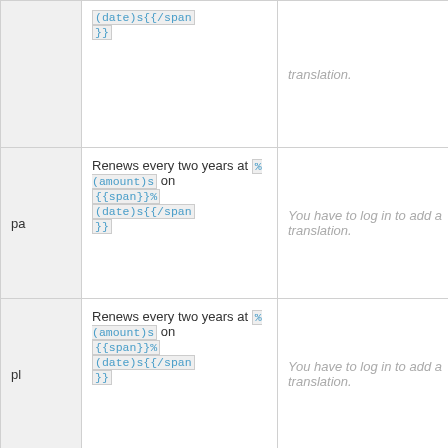| lang | source text | translation | action |
| --- | --- | --- | --- |
|  | (date)s{{/span}} | You have to log in to add a translation. | Details |
| pa | Renews every two years at %(amount)s on {{span}}%(date)s{{/span}} | You have to log in to add a translation. | Details |
| pl | Renews every two years at %(amount)s on {{span}}%(date)s{{/span}} | You have to log in to add a translation. | Details |
| ps | Renews every two years at %(amount)s on {{span}}%(date)s{{/span}} | You have to log in to add a translation. | Details |